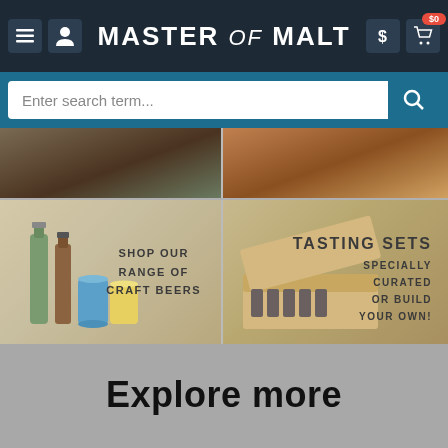[Figure (screenshot): Master of Malt website navigation bar with hamburger menu, user icon, site title 'MASTER of MALT', dollar sign icon, and shopping cart icon with $0 badge]
[Figure (screenshot): Search bar with placeholder text 'Enter search term...' and a search button on teal background]
[Figure (screenshot): Top banner row showing two promotional images: left with whisky bottles on wood, right with whisky glass and bottle]
[Figure (screenshot): Middle banner row: left panel showing craft beer bottles and cans with text 'SHOP OUR RANGE OF CRAFT BEERS'; right panel showing tasting set box with mini bottles and text 'TASTING SETS SPECIALLY CURATED OR BUILD YOUR OWN!']
Explore more